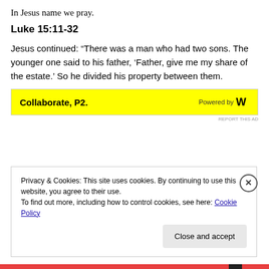In Jesus name we pray.
Luke 15:11-32
Jesus continued: “There was a man who had two sons. The younger one said to his father, ‘Father, give me my share of the estate.’ So he divided his property between them.
[Figure (other): Yellow advertisement banner reading 'Collaborate, P2.' with 'Powered by W' logo on the right]
Privacy & Cookies: This site uses cookies. By continuing to use this website, you agree to their use.
To find out more, including how to control cookies, see here: Cookie Policy
Close and accept